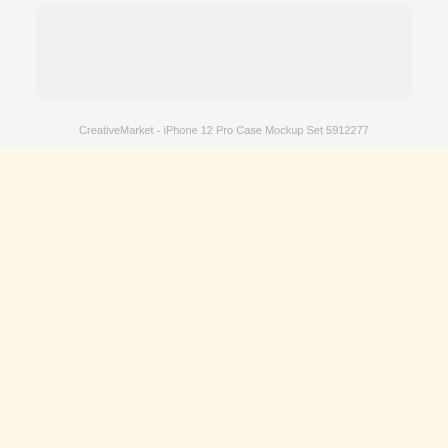[Figure (screenshot): Top portion of a white/light gray UI card or panel on a light gray background, partially cropped at the top edge.]
CreativeMarket - iPhone 12 Pro Case Mockup Set 5912277